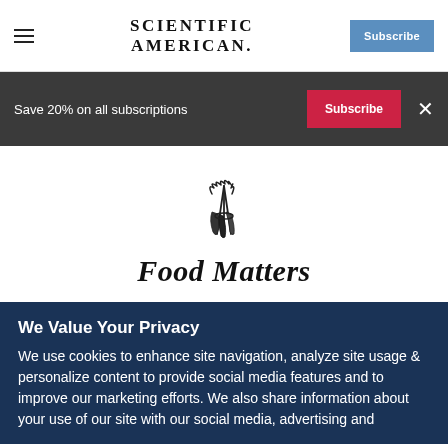Scientific American — Navigation bar with hamburger menu and Subscribe button
Save 20% on all subscriptions
[Figure (logo): Scientific American Food Matters logo — illustration of vegetables/herbs bundle in black and white]
Food Matters
We Value Your Privacy
We use cookies to enhance site navigation, analyze site usage & personalize content to provide social media features and to improve our marketing efforts. We also share information about your use of our site with our social media, advertising and